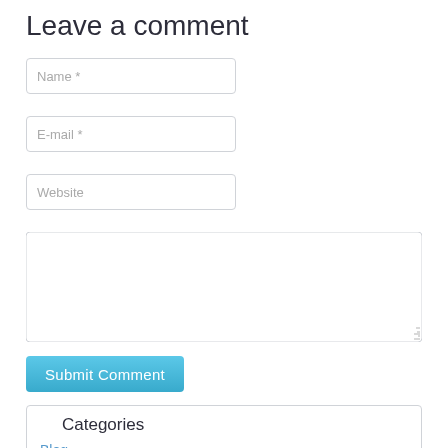Leave a comment
Name *
E-mail *
Website
[Figure (other): Large comment text area input field]
Submit Comment
Categories
Blog